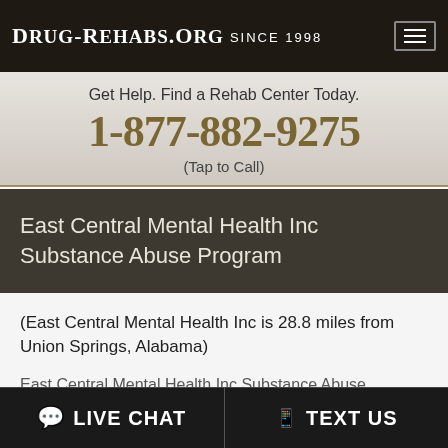Drug-Rehabs.org Since 1998
Get Help. Find a Rehab Center Today.
1-877-882-9275
(Tap to Call)
East Central Mental Health Inc Substance Abuse Program
(East Central Mental Health Inc is 28.8 miles from Union Springs, Alabama)

East Central Mental Health Inc Substance Abuse Program
200 Cherry Street
Troy, AL 36081
LIVE CHAT | TEXT US